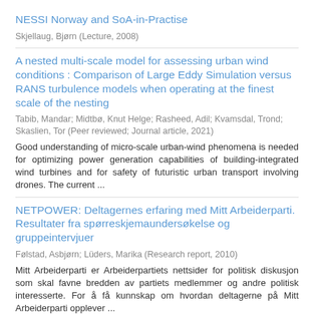NESSI Norway and SoA-in-Practise
Skjellaug, Bjørn (Lecture, 2008)
A nested multi-scale model for assessing urban wind conditions : Comparison of Large Eddy Simulation versus RANS turbulence models when operating at the finest scale of the nesting
Tabib, Mandar; Midtbø, Knut Helge; Rasheed, Adil; Kvamsdal, Trond; Skaslien, Tor (Peer reviewed; Journal article, 2021)
Good understanding of micro-scale urban-wind phenomena is needed for optimizing power generation capabilities of building-integrated wind turbines and for safety of futuristic urban transport involving drones. The current ...
NETPOWER: Deltagernes erfaring med Mitt Arbeiderparti. Resultater fra spørreskjemaundersøkelse og gruppeintervjuer
Følstad, Asbjørn; Lüders, Marika (Research report, 2010)
Mitt Arbeiderparti er Arbeiderpartiets nettsider for politisk diskusjon som skal favne bredden av partiets medlemmer og andre politisk interesserte. For å få kunnskap om hvordan deltagerne på Mitt Arbeiderparti opplever ...
NETPOWER: Erfaringer med Mitt Arbeiderparti ...